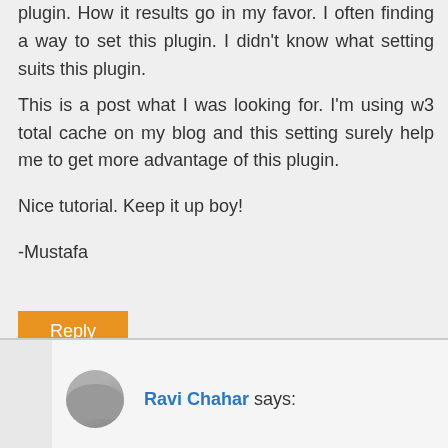I always get confused how to set w3 total cache plugin. How it results go in my favor. I often finding a way to set this plugin. I didn't know what setting suits this plugin.
This is a post what I was looking for. I'm using w3 total cache on my blog and this setting surely help me to get more advantage of this plugin.
Nice tutorial. Keep it up boy!
-Mustafa
Reply
Ravi Chahar says: